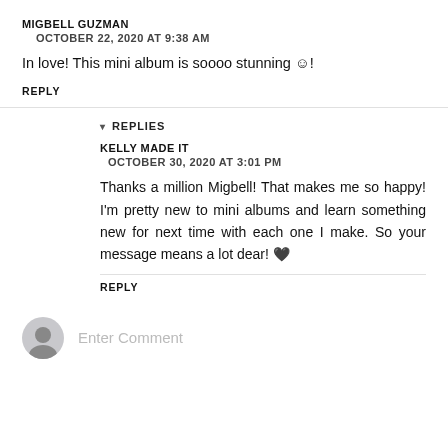MIGBELL GUZMAN
OCTOBER 22, 2020 AT 9:38 AM
In love! This mini album is soooo stunning ☺!
REPLY
▾ REPLIES
KELLY MADE IT
OCTOBER 30, 2020 AT 3:01 PM
Thanks a million Migbell! That makes me so happy! I'm pretty new to mini albums and learn something new for next time with each one I make. So your message means a lot dear! 🖤
REPLY
Enter Comment